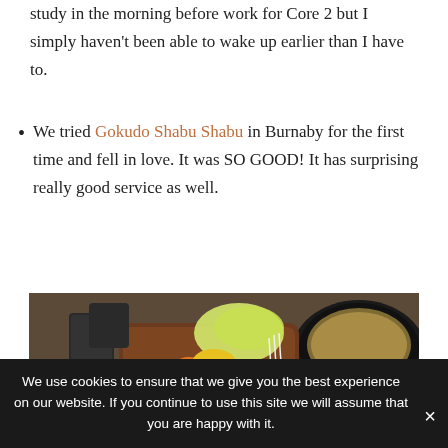study in the morning before work for Core 2 but I simply haven't been able to wake up earlier than I have to.
We tried Gokudo Shabu Shabu in Burnaby for the first time and fell in love. It was SO GOOD! It has surprising really good service as well.
[Figure (photo): Photo of shabu shabu food spread: a bowl with colorful vegetables (cabbage, corn, peppers, mushrooms), rolled slices of meat, and a hot pot with broth on a wooden table.]
We use cookies to ensure that we give you the best experience on our website. If you continue to use this site we will assume that you are happy with it.